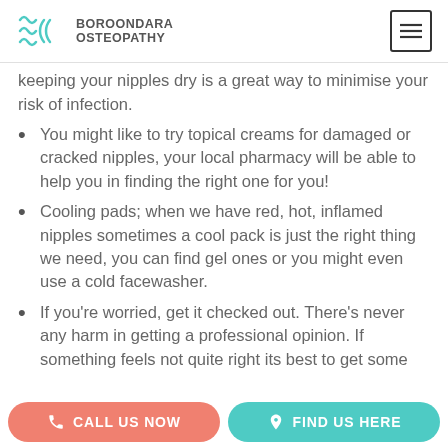BOROONDARA OSTEOPATHY
keeping your nipples dry is a great way to minimise your risk of infection.
You might like to try topical creams for damaged or cracked nipples, your local pharmacy will be able to help you in finding the right one for you!
Cooling pads; when we have red, hot, inflamed nipples sometimes a cool pack is just the right thing we need, you can find gel ones or you might even use a cold facewasher.
If you’re worried, get it checked out. There’s never any harm in getting a professional opinion. If something feels not quite right its best to get some
CALL US NOW   FIND US HERE